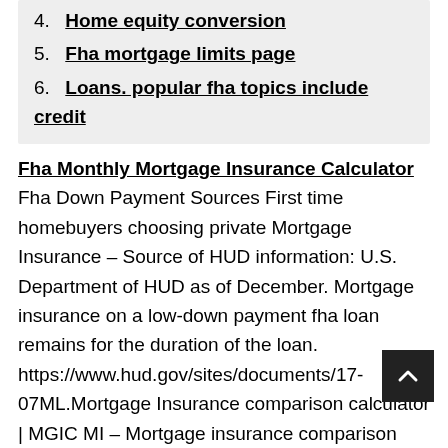4. Home equity conversion
5. Fha mortgage limits page
6. Loans. popular fha topics include credit
Fha Monthly Mortgage Insurance Calculator Fha Down Payment Sources First time homebuyers choosing private Mortgage Insurance – Source of HUD information: U.S. Department of HUD as of December. Mortgage insurance on a low-down payment fha loan remains for the duration of the loan. https://www.hud.gov/sites/documents/17-07ML.Mortgage Insurance comparison calculator | MGIC MI – Mortgage insurance comparison calculator Our MI Options Calculator allows you to compare up to 4 high-LTV solutions side-by-side. Compare the most popular MI rate